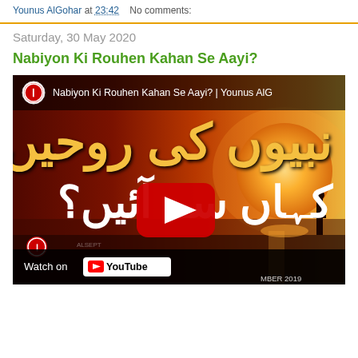Younus AlGohar at 23:42   No comments:
Saturday, 30 May 2020
Nabiyon Ki Rouhen Kahan Se Aayi?
[Figure (screenshot): YouTube video thumbnail for 'Nabiyon Ki Rouhen Kahan Se Aayi? | Younus AlG...' showing Urdu calligraphy text on a dark red/sunset background with a YouTube play button overlay and 'Watch on YouTube' bar at the bottom. Date shown: MBER 2019.]